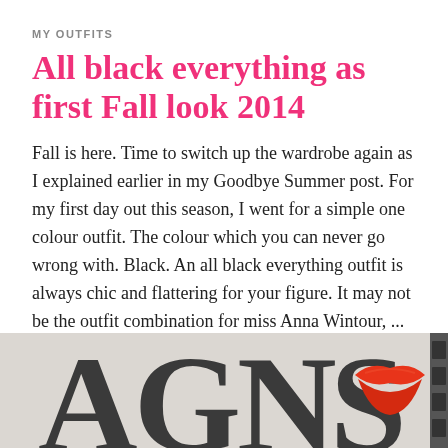MY OUTFITS
All black everything as first Fall look 2014
Fall is here. Time to switch up the wardrobe again as I explained earlier in my Goodbye Summer post. For my first day out this season, I went for a simple one colour outfit. The colour which you can never go wrong with. Black. An all black everything outfit is always chic and flattering for your figure. It may not be the outfit combination for miss Anna Wintour, ...
Continue reading
27 SEPTEMBER 2014  /  1 COMMENT
[Figure (photo): Partial photo showing large bold letters 'AGNS' or similar in grey/black, with a red lips/mouth graphic element on the right side. Bottom of page image cropped.]